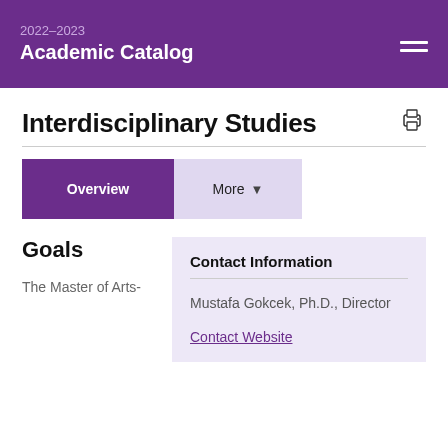2022-2023 Academic Catalog
Interdisciplinary Studies
Overview | More
Goals
The Master of Arts-
Contact Information
Mustafa Gokcek, Ph.D., Director
Contact Website